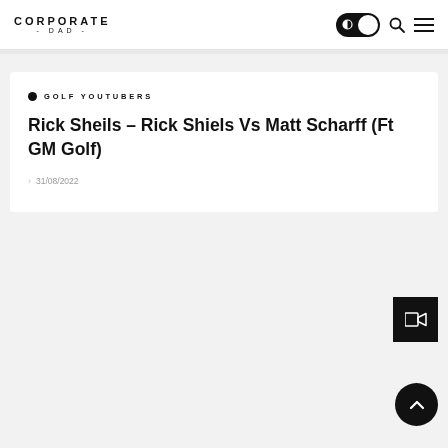CORPORATE - DAD -
GOLF YOUTUBERS
Rick Sheils – Rick Shiels Vs Matt Scharff (Ft GM Golf)
31/08/2022